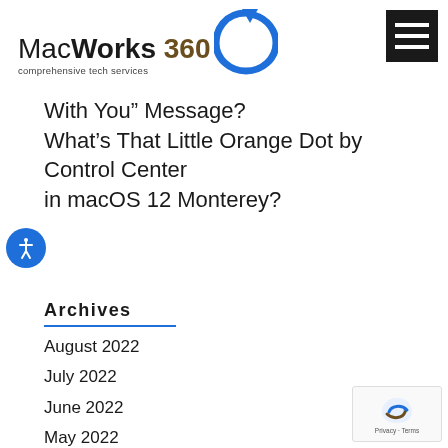[Figure (logo): MacWorks 360 logo with circular blue arrow and tagline 'comprehensive tech services']
With You” Message? What’s That Little Orange Dot by Control Center in macOS 12 Monterey?
Archives
August 2022
July 2022
June 2022
May 2022
April 2022